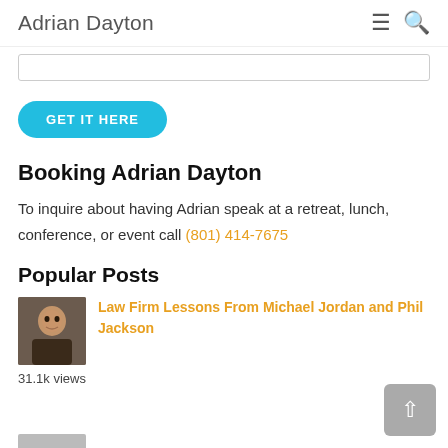Adrian Dayton
[Figure (other): Input text box (partially visible, cropped from top)]
GET IT HERE
Booking Adrian Dayton
To inquire about having Adrian speak at a retreat, lunch, conference, or event call (801) 414-7675
Popular Posts
[Figure (photo): Thumbnail photo of a man (Michael Jordan)]
Law Firm Lessons From Michael Jordan and Phil Jackson
31.1k views